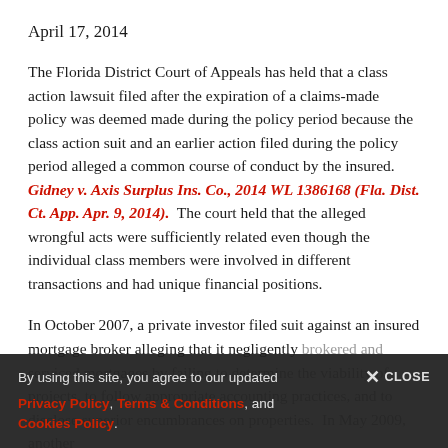April 17, 2014
The Florida District Court of Appeals has held that a class action lawsuit filed after the expiration of a claims-made policy was deemed made during the policy period because the class action suit and an earlier action filed during the policy period alleged a common course of conduct by the insured.  Gidney v. Axis Surplus Ins. Co., 2014 WL 1386168 (Fla. Dist. Ct. App. Apr. 9, 2014).  The court held that the alleged wrongful acts were sufficiently related even though the individual class members were involved in different transactions and had unique financial positions.
In October 2007, a private investor filed suit against an insured mortgage broker alleging that it negligently brokered and serviced mortgages by failing to determine the viability of projects, to follow appropriate accounting practices, and to disclose superior encumbrances on properties.  In May 2009, another